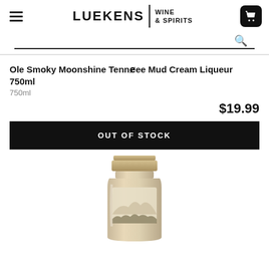[Figure (logo): Luekens Wine & Spirits logo with hamburger menu icon and cart button]
Ole Smoky Moonshine Tennessee Mud Cream Liqueur 750ml
750ml
$19.99
OUT OF STOCK
[Figure (photo): Ole Smoky Moonshine Tennessee Mud Cream Liqueur mason jar bottle]